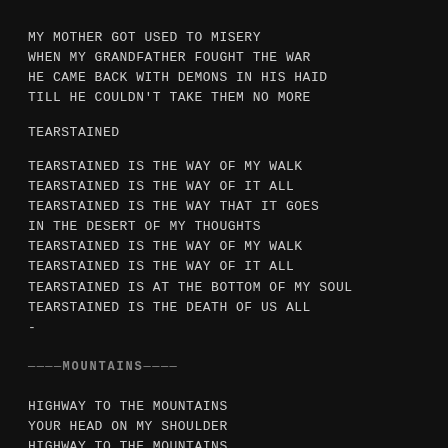MY MOTHER GOT USED TO MISERY
WHEN MY GRANDFATHER FOUGHT THE WAR
HE CAME BACK WITH DEMONS IN HIS HAID
TILL HE COULDN'T TAKE THEM NO MORE
TEARSTAINED
TEARSTAINED IS THE WAY OF MY WALK
TEARSTAINED IS THE WAY OF IT ALL
TEARSTAINED IS THE WAY THAT IT GOES
IN THE DESERT OF MY THOUGHTS
TEARSTAINED IS THE WAY OF MY WALK
TEARSTAINED IS THE WAY OF IT ALL
TEARSTAINED IS AT THE BOTTOM OF MY SOUL
TEARSTAINED IS THE DEATH OF US ALL
-
——— MOUNTAINS ————
HIGHWAY TO THE MOUNTAINS
YOUR HEAD ON MY SHOULDER
HIGHWAY TO THE MOUNTAINS